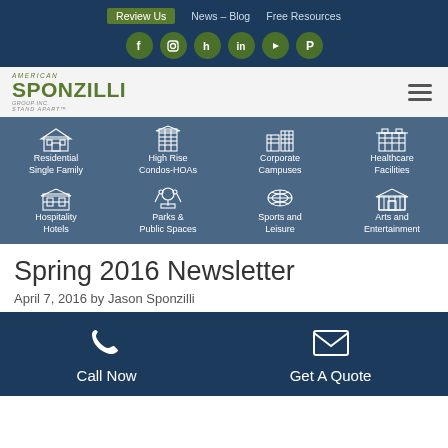Review Us | News – Blog | Free Resources
[Figure (screenshot): Social media icons: Facebook, Instagram, Houzz, LinkedIn, YouTube, Pinterest in dark olive green circles]
[Figure (logo): American Sponzilli Group Inc logo with tagline Stand Apart]
[Figure (infographic): Services grid: Residential Single Family, High Rise Condos-HOAs, Corporate Campuses, Healthcare Facilities, Hospitality Hotels, Parks & Public Spaces, Sports and Leisure, Arts and Entertainment]
Spring 2016 Newsletter
April 7, 2016 by Jason Sponzilli
Call Now | Get A Quote